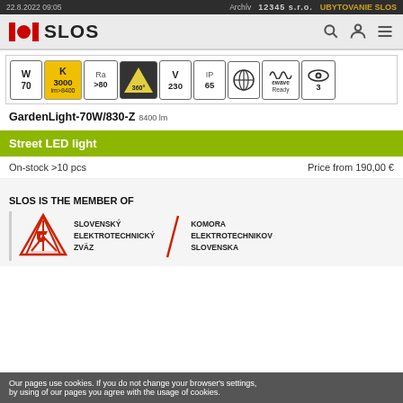22.8.2022 09:05   Archív   12345 s.r.o.   UBYTOVANIE SLOS
[Figure (logo): SLOS company logo with red IO bars and circle]
[Figure (infographic): Product specification icons row: W 70, K 3000 lm>8400, Ra >80, 360°, V 230, IP 65, globe icon, ewave Ready, eye icon 3]
GardenLight-70W/830-Z 8400 lm
Street LED light
On-stock >10 pcs    Price from 190,00 €
SLOS IS THE MEMBER OF
[Figure (logo): Slovenský Elektrotechnický Zväz and Komora Elektrotechnikov Slovenska logos with red triangle/lightning mark]
SLOVENSKÝ ELEKTROTECHNICKÝ ZVÄZ   KOMORA ELEKTROTECHNIKOV SLOVENSKA
Our pages use cookies. If you do not change your browser's settings, by using of our pages you agree with the usage of cookies.